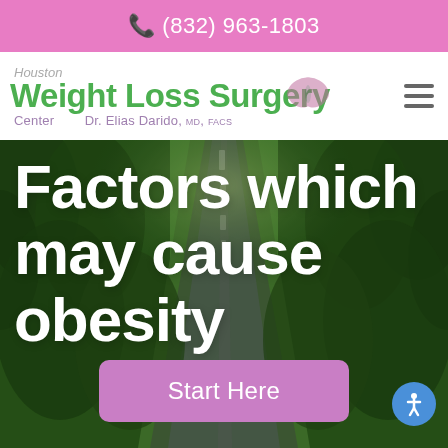📞 (832) 963-1803
[Figure (logo): Houston Weight Loss Surgery Center logo with butterfly graphic and text 'Dr. Elias Darido, MD, FACS']
[Figure (photo): Background hero image of a tree-lined road stretching into the distance with green foliage on both sides]
Factors which may cause obesity
Start Here